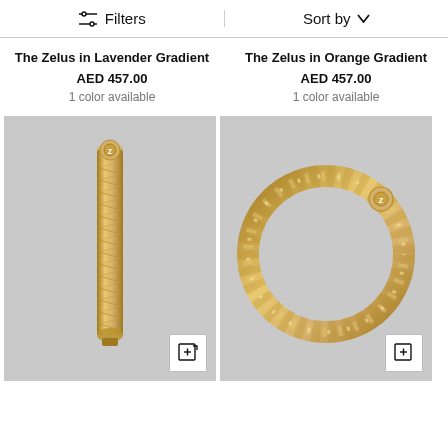Filters   Sort by
The Zelus in Lavender Gradient
AED 457.00
1 color available
The Zelus in Orange Gradient
AED 457.00
1 color available
[Figure (photo): Gold twisted rope bracelet shown vertically (open/straight) on a light gray background]
[Figure (photo): Gold twisted rope bracelet shown as a closed ring/circle on a light gray background]